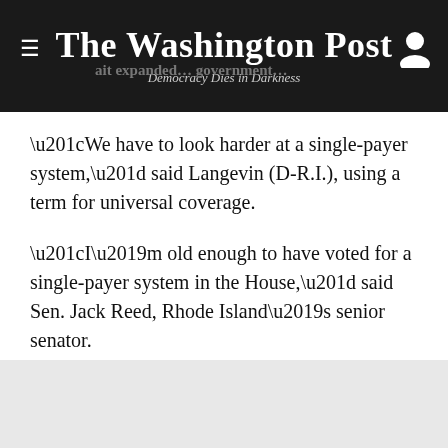The Washington Post
Democracy Dies in Darkness
“We have to look harder at a single-payer system,” said Langevin (D-R.I.), using a term for universal coverage.
“I’m old enough to have voted for a single-payer system in the House,” said Sen. Jack Reed, Rhode Island’s senior senator.
“The very best market-based solution is to have a public option,” Sen. Sheldon Whitehouse said.